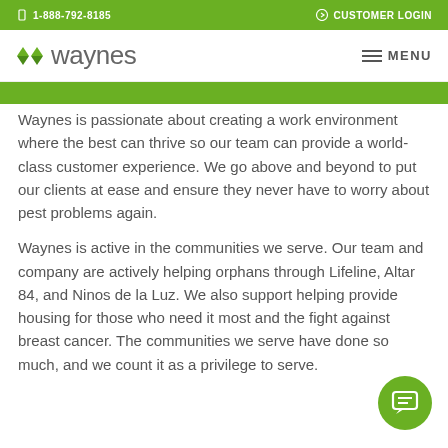1-888-792-8185  CUSTOMER LOGIN
waynes
Waynes is passionate about creating a work environment where the best can thrive so our team can provide a world-class customer experience. We go above and beyond to put our clients at ease and ensure they never have to worry about pest problems again.
Waynes is active in the communities we serve. Our team and company are actively helping orphans through Lifeline, Altar 84, and Ninos de la Luz. We also support helping provide housing for those who need it most and the fight against breast cancer. The communities we serve have done so much, and we count it as a privilege to serve.